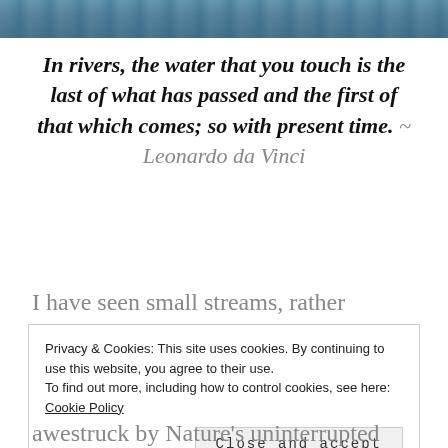[Figure (photo): Partial view of a river or water scene at the top of the page]
In rivers, the water that you touch is the last of what has passed and the first of that which comes; so with present time. ~ Leonardo da Vinci
I have seen small streams, rather springs while traveling to mountains in Sikkim and also in Darjeeling when I was very
Privacy & Cookies: This site uses cookies. By continuing to use this website, you agree to their use.
To find out more, including how to control cookies, see here:
Cookie Policy
Close and accept
awestruck by Nature's uninterrupted